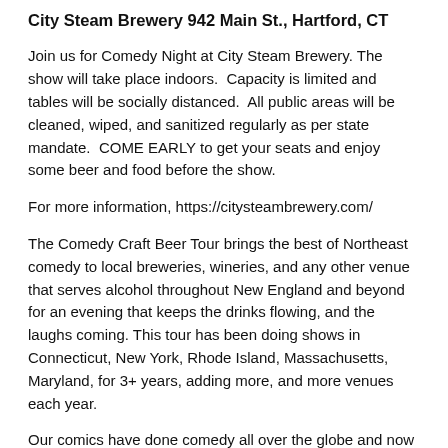City Steam Brewery 942 Main St., Hartford, CT
Join us for Comedy Night at City Steam Brewery. The show will take place indoors.  Capacity is limited and tables will be socially distanced.  All public areas will be cleaned, wiped, and sanitized regularly as per state mandate.  COME EARLY to get your seats and enjoy some beer and food before the show.
For more information, https://citysteambrewery.com/
The Comedy Craft Beer Tour brings the best of Northeast comedy to local breweries, wineries, and any other venue that serves alcohol throughout New England and beyond for an evening that keeps the drinks flowing, and the laughs coming. This tour has been doing shows in Connecticut, New York, Rhode Island, Massachusetts, Maryland, for 3+ years, adding more, and more venues each year.
Our comics have done comedy all over the globe and now bring their experiences to some of the best local venues around for an intimate evening of laughs, drinks, food, and